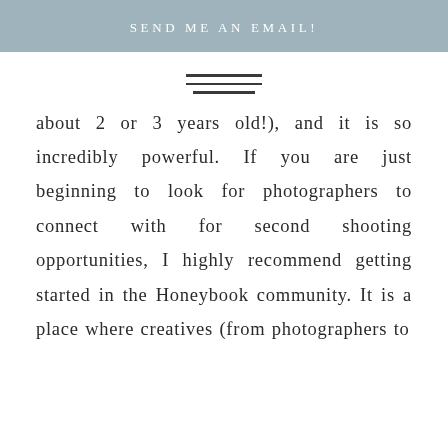SEND ME AN EMAIL!
[Figure (other): Three horizontal lines forming a hamburger/menu icon]
about 2 or 3 years old!), and it is so incredibly powerful. If you are just beginning to look for photographers to connect with for second shooting opportunities, I highly recommend getting started in the Honeybook community. It is a place where creatives (from photographers to